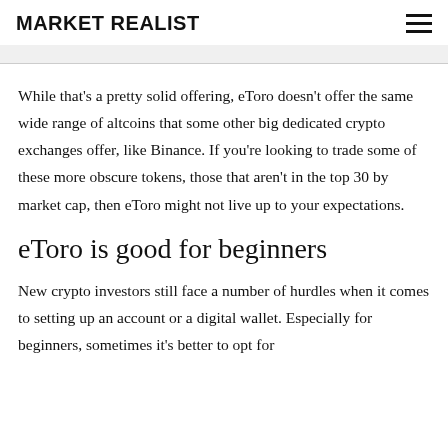MARKET REALIST
While that's a pretty solid offering, eToro doesn't offer the same wide range of altcoins that some other big dedicated crypto exchanges offer, like Binance. If you're looking to trade some of these more obscure tokens, those that aren't in the top 30 by market cap, then eToro might not live up to your expectations.
eToro is good for beginners
New crypto investors still face a number of hurdles when it comes to setting up an account or a digital wallet. Especially for beginners, sometimes it's better to opt for